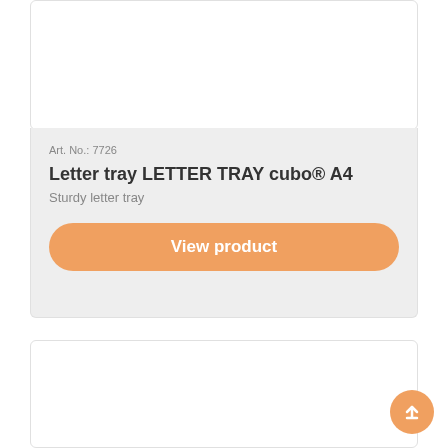[Figure (photo): White product card area at top, showing a letter tray product image (image area is blank/white in this view)]
Art. No.: 7726
Letter tray LETTER TRAY cubo® A4
Sturdy letter tray
View product
[Figure (photo): Second white product card area at bottom, product image area visible but blank in this view]